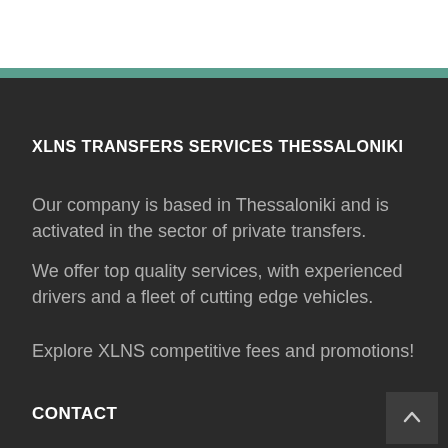XLNS TRANSFERS SERVICES THESSALONIKI
Our company is based in Thessaloniki and is activated in the sector of private transfers.
We offer top quality services, with experienced drivers and a fleet of cutting edge vehicles.
Explore XLNS competitive fees and promotions!
CONTACT